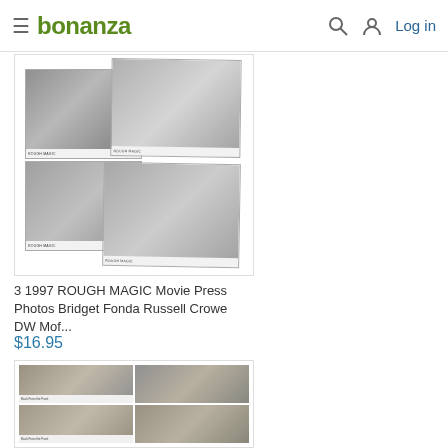bonanza — Log in
[Figure (photo): Product photo collage showing 3 black and white movie press photos for the 1997 film Rough Magic, featuring overlapping prints with 'ROUGH MAGIC' text strips at bottom]
3 1997 ROUGH MAGIC Movie Press Photos Bridget Fonda Russell Crowe DW Mof...
$16.95
[Figure (photo): Product photo showing a grid of 4 black and white movie press photos, partially visible, with 'Back From the Front' caption text on lower left photos]